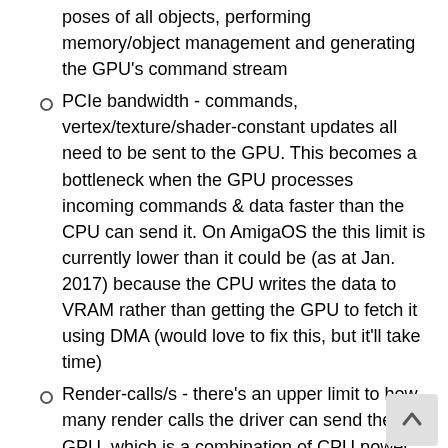poses of all objects, performing memory/object management and generating the GPU's command stream
PCIe bandwidth - commands, vertex/texture/shader-constant updates all need to be sent to the GPU. This becomes a bottleneck when the GPU processes incoming commands & data faster than the CPU can send it. On AmigaOS the this limit is currently lower than it could be (as at Jan. 2017) because the CPU writes the data to VRAM rather than getting the GPU to fetch it using DMA (would love to fix this, but it'll take time)
Render-calls/s - there's an upper limit to how many render calls the driver can send the GPU, which is a combination of CPU power and PCIe bandwidth. Apart from generating and sending the commands, there's also memory/object management to be done